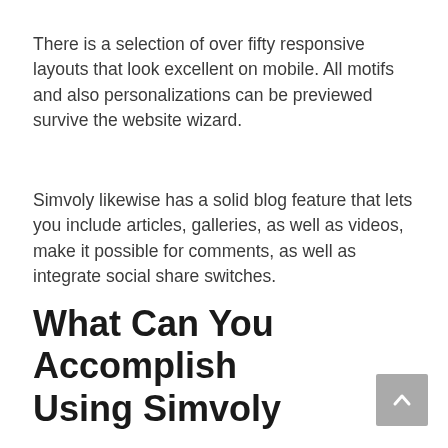There is a selection of over fifty responsive layouts that look excellent on mobile. All motifs and also personalizations can be previewed survive the website wizard.
Simvoly likewise has a solid blog feature that lets you include articles, galleries, as well as videos, make it possible for comments, as well as integrate social share switches.
What Can You Accomplish Using Simvoly